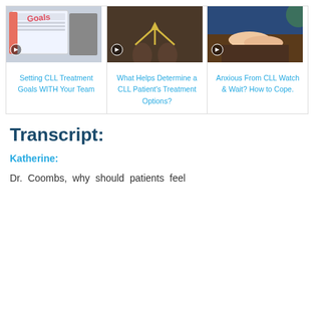[Figure (screenshot): Three video thumbnail cards in a row. Card 1: notebook with 'GOALS' written in red. Card 2: person's feet at a crossroads with chalk arrows. Card 3: hands clasped on a table.]
Setting CLL Treatment Goals WITH Your Team
What Helps Determine a CLL Patient's Treatment Options?
Anxious From CLL Watch & Wait? How to Cope.
Transcript:
Katherine:
Dr. Coombs, why should patients feel